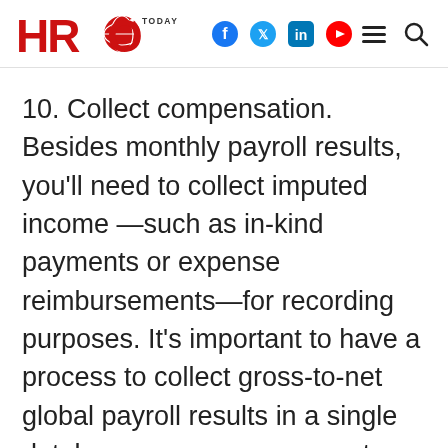HRO Today — navigation header with logo, social icons, hamburger, and search
10. Collect compensation. Besides monthly payroll results, you'll need to collect imputed income —such as in-kind payments or expense reimbursements—for recording purposes. It's important to have a process to collect gross-to-net global payroll results in a single database so you can generate comprehensive reports for HR, payroll, finance, or tax providers.